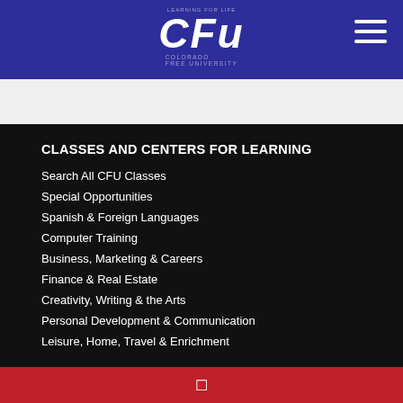[Figure (logo): Colorado Free University (CFU) logo with LEARNING FOR LIFE text on a dark blue header bar]
CLASSES AND CENTERS FOR LEARNING
Search All CFU Classes
Special Opportunities
Spanish & Foreign Languages
Computer Training
Business, Marketing & Careers
Finance & Real Estate
Creativity, Writing & the Arts
Personal Development & Communication
Leisure, Home, Travel & Enrichment